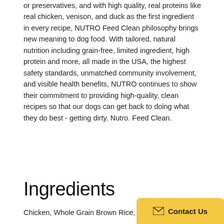or preservatives, and with high quality, real proteins like real chicken, venison, and duck as the first ingredient in every recipe, NUTRO Feed Clean philosophy brings new meaning to dog food. With tailored, natural nutrition including grain-free, limited ingredient, high protein and more, all made in the USA, the highest safety standards, unmatched community involvement, and visible health benefits, NUTRO continues to show their commitment to providing high-quality, clean recipes so that our dogs can get back to doing what they do best - getting dirty. Nutro. Feed Clean.
Ingredients
Chicken, Whole Grain Brown Rice, Wh...